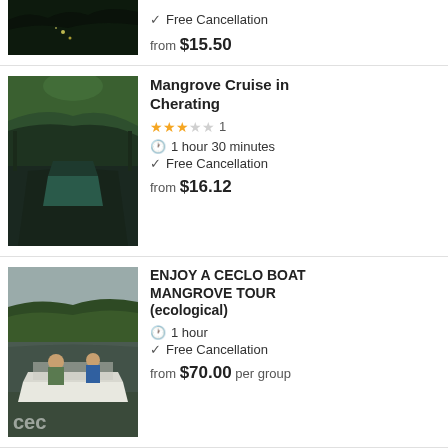[Figure (photo): Dark jungle/night scene with firefly lights, partial top of listing]
Free Cancellation
from $15.50
[Figure (photo): Mangrove cruise photo showing boat on river through mangrove trees]
Mangrove Cruise in Cherating
3 stars out of 5, 1 review
1 hour 30 minutes
Free Cancellation
from $16.12
[Figure (photo): Two people on a small motorboat on a river with mangrove trees in background, boat has 'cec' text visible]
ENJOY A CECLO BOAT MANGROVE TOUR (ecological)
1 hour
Free Cancellation
from $70.00 per group